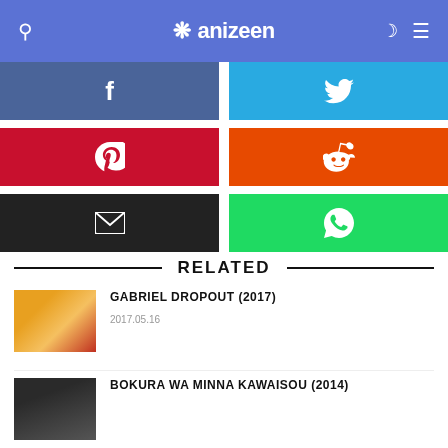anizeen
[Figure (screenshot): Social share buttons grid: Facebook (dark blue), Twitter (sky blue), Pinterest (red), Reddit (orange), Email (black), WhatsApp (green)]
RELATED
GABRIEL DROPOUT (2017)
2017.05.16
BOKURA WA MINNA KAWAISOU (2014)